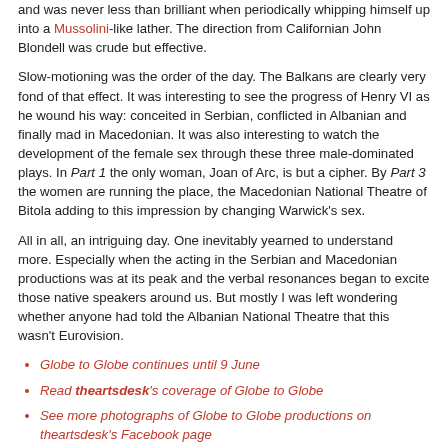and was never less than brilliant when periodically whipping himself up into a Mussolini-like lather. The direction from Californian John Blondell was crude but effective.
Slow-motioning was the order of the day. The Balkans are clearly very fond of that effect. It was interesting to see the progress of Henry VI as he wound his way: conceited in Serbian, conflicted in Albanian and finally mad in Macedonian. It was also interesting to watch the development of the female sex through these three male-dominated plays. In Part 1 the only woman, Joan of Arc, is but a cipher. By Part 3 the women are running the place, the Macedonian National Theatre of Bitola adding to this impression by changing Warwick's sex.
All in all, an intriguing day. One inevitably yearned to understand more. Especially when the acting in the Serbian and Macedonian productions was at its peak and the verbal resonances began to excite those native speakers around us. But mostly I was left wondering whether anyone had told the Albanian National Theatre that this wasn't Eurovision.
Globe to Globe continues until 9 June
Read theartsdesk's coverage of Globe to Globe
See more photographs of Globe to Globe productions on theartsdesk's Facebook page
Follow @IgorToronyi on Twitter